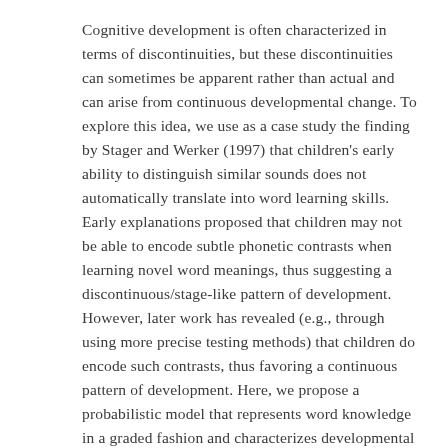Cognitive development is often characterized in terms of discontinuities, but these discontinuities can sometimes be apparent rather than actual and can arise from continuous developmental change. To explore this idea, we use as a case study the finding by Stager and Werker (1997) that children's early ability to distinguish similar sounds does not automatically translate into word learning skills. Early explanations proposed that children may not be able to encode subtle phonetic contrasts when learning novel word meanings, thus suggesting a discontinuous/stage-like pattern of development. However, later work has revealed (e.g., through using more precise testing methods) that children do encode such contrasts, thus favoring a continuous pattern of development. Here, we propose a probabilistic model that represents word knowledge in a graded fashion and characterizes developmental change as improvement in the precision of this graded knowledge. Our model explained previous findings in the literature and provided a new prediction – the referents' visual similarity modulates word learning accuracy. The models' predictions were corroborated by human data collected from both preschool children and adults. The broader impact of this work